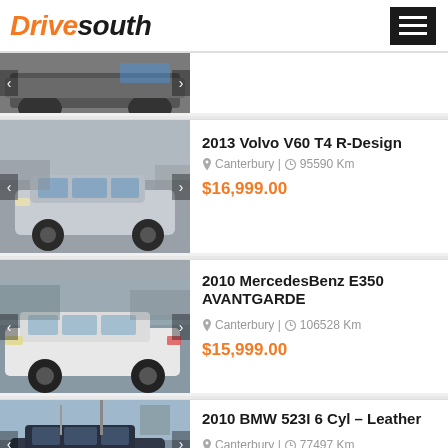Drivesouth
[Figure (photo): Partial view of a car, cropped at top]
2013 Volvo V60 T4 R-Design
Canterbury | 95590 Km
$16,999.00
[Figure (photo): Silver Volvo V60 wagon in a car yard]
2010 MercedesBenz E350 AVANTGARDE
Canterbury | 106528 Km
$15,999.00
[Figure (photo): White Mercedes-Benz E350 wagon in a car yard]
2010 BMW 523I 6 Cyl - Leather
Canterbury | 77497 Km
$21,999.00
[Figure (photo): Partial view of a dark BMW sedan in a car yard]